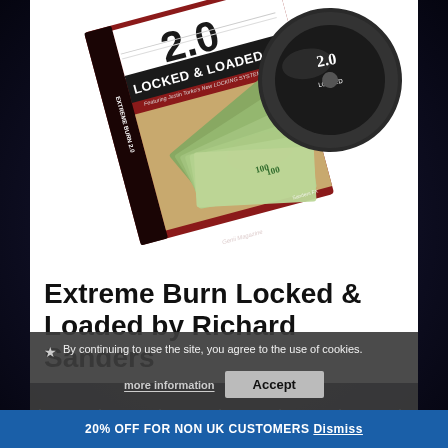[Figure (photo): Product photo of 'Extreme Burn 2.0 Locked & Loaded' DVD by Sanders FX, showing a DVD case and disc with imagery of hands holding fanned-out $100 bills, titled 'Locked & Loaded, Featuring Justin Torko's New Locking System'. Quote: 'Sensational!' - Genii Magazine.]
Extreme Burn Locked & Loaded by Richard Sanders
By continuing to use the site, you agree to the use of cookies.
more information
Accept
20% OFF FOR NON UK CUSTOMERS Dismiss